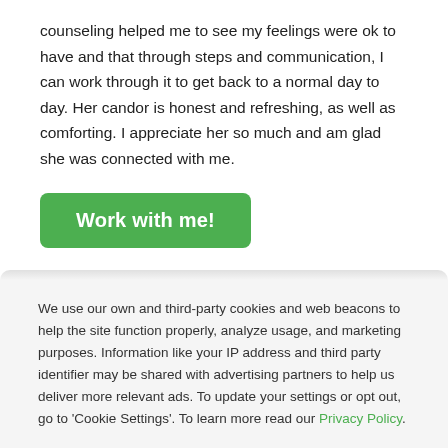counseling helped me to see my feelings were ok to have and that through steps and communication, I can work through it to get back to a normal day to day. Her candor is honest and refreshing, as well as comforting. I appreciate her so much and am glad she was connected with me.
Work with me!
We use our own and third-party cookies and web beacons to help the site function properly, analyze usage, and marketing purposes. Information like your IP address and third party identifier may be shared with advertising partners to help us deliver more relevant ads. To update your settings or opt out, go to 'Cookie Settings'. To learn more read our Privacy Policy.
Cookie Settings
OK